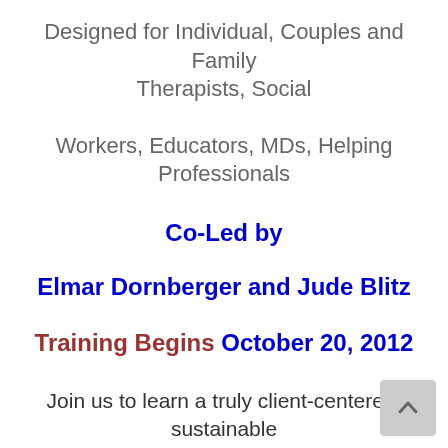Designed for Individual, Couples and Family Therapists, Social
Workers, Educators, MDs, Helping Professionals
Co-Led by
Elmar Dornberger and Jude Blitz
Training Begins October 20, 2012
Join us to learn a truly client-centered, sustainable change method
that starts and ends with deep Presence
When trainees learn how to evoke the